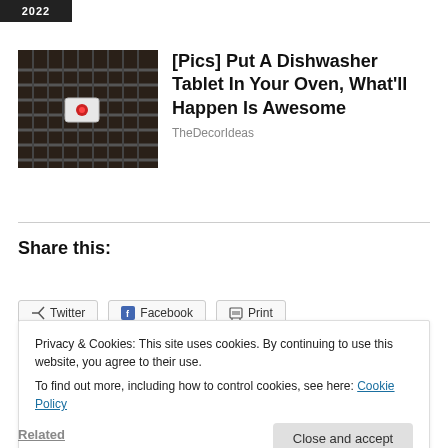[Figure (other): Small black badge with '2022' text in white]
[Figure (photo): Photo of an oven rack with a dishwasher tablet on it]
[Pics] Put A Dishwasher Tablet In Your Oven, What'll Happen Is Awesome
TheDecorIdeas
Share this:
Twitter  Facebook  Print
Privacy & Cookies: This site uses cookies. By continuing to use this website, you agree to their use.
To find out more, including how to control cookies, see here: Cookie Policy
Close and accept